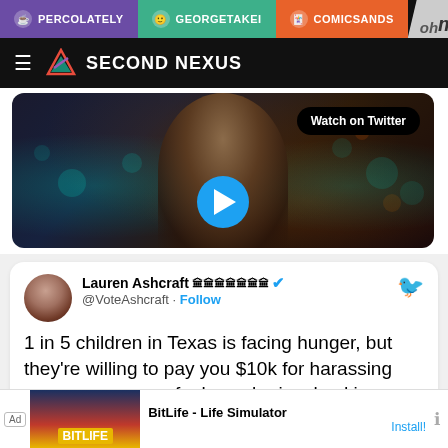PERCOLATELY | GEORGETAKEI | COMICSANDS
SECOND NEXUS
[Figure (screenshot): Video thumbnail showing a woman news anchor with 'Watch on Twitter' button and a play button overlay]
Lauren Ashcraft 🏛️🏛️🏛️🏛️🏛️🏛️🏛️ ✔ @VoteAshcraft · Follow
1 in 5 children in Texas is facing hunger, but they're willing to pay you $10k for harassing every person you feel may be involved in an abortion.
Ad BitLife - Life Simulator Install!